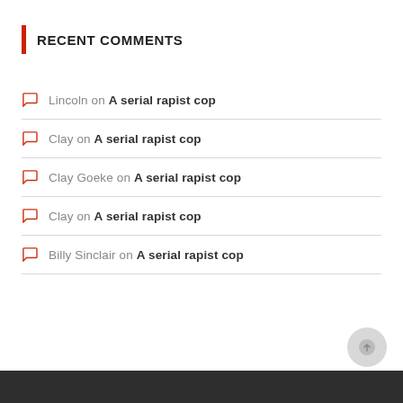RECENT COMMENTS
Lincoln on A serial rapist cop
Clay on A serial rapist cop
Clay Goeke on A serial rapist cop
Clay on A serial rapist cop
Billy Sinclair on A serial rapist cop